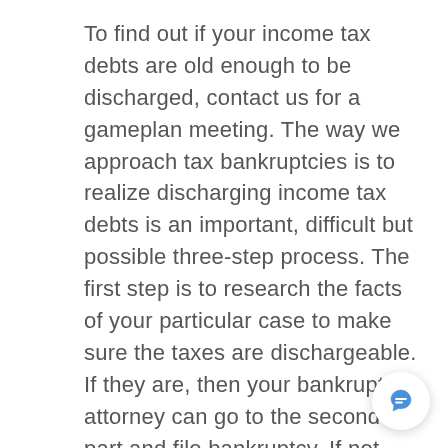To find out if your income tax debts are old enough to be discharged, contact us for a gameplan meeting. The way we approach tax bankruptcies is to realize discharging income tax debts is an important, difficult but possible three-step process. The first step is to research the facts of your particular case to make sure the taxes are dischargeable. If they are, then your bankruptcy attorney can go to the second part and file bankruptcy. If not, we determine when they would be and wait until then. The second stage is the actual
[Figure (other): Chat bubble icon button in bottom right corner]